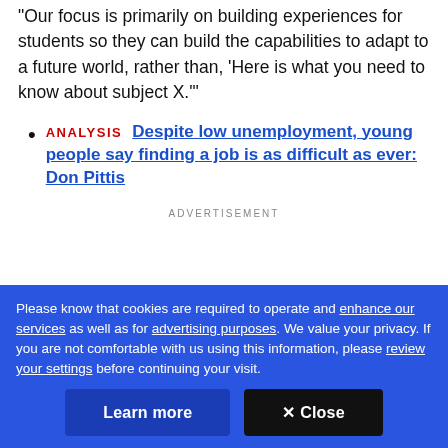"Our focus is primarily on building experiences for students so they can build the capabilities to adapt to a future world, rather than, 'Here is what you need to know about subject X.'"
ANALYSIS  Despite low unemployment, young people say finding a job is as difficult as ever: Don Pittis
ADVERTISEMENT
Please know that cookies are required to operate and enhance our services as well as for advertising purposes. We value your privacy. If you are not comfortable with us using this information, please review your settings before continuing your visit.